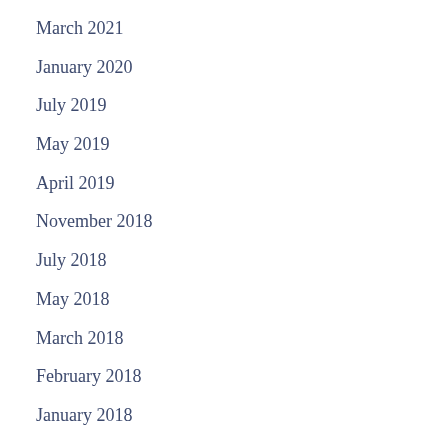March 2021
January 2020
July 2019
May 2019
April 2019
November 2018
July 2018
May 2018
March 2018
February 2018
January 2018